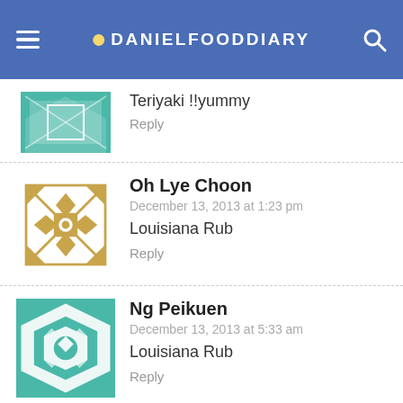DANIELFOODDIARY
Teriyaki !!yummy
Reply
Oh Lye Choon
December 13, 2013 at 1:23 pm
Louisiana Rub
Reply
Ng Peikuen
December 13, 2013 at 5:33 am
Louisiana Rub
Reply
Joan Catherine Yuliani
December 13, 2013 at 7:27 am
Hickory smoked BBQ